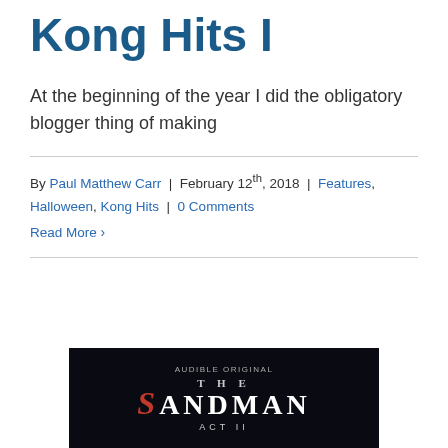Kong Hits I
At the beginning of the year I did the obligatory blogger thing of making
By Paul Matthew Carr | February 12th, 2018 | Features, Halloween, Kong Hits | 0 Comments
Read More >
[Figure (photo): Audible Original advertisement for The Sandman Act II, showing stylized title text on dark background]